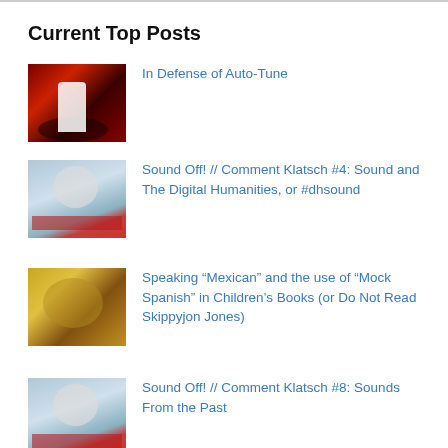Current Top Posts
In Defense of Auto-Tune
Sound Off! // Comment Klatsch #4: Sound and The Digital Humanities, or #dhsound
Speaking “Mexican” and the use of “Mock Spanish” in Children’s Books (or Do Not Read Skippyjon Jones)
Sound Off! // Comment Klatsch #8: Sounds From the Past